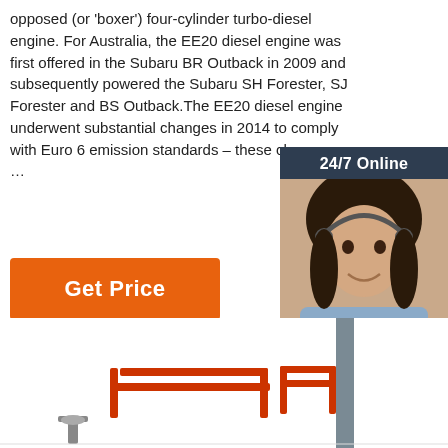opposed (or 'boxer') four-cylinder turbo-diesel engine. For Australia, the EE20 diesel engine was first offered in the Subaru BR Outback in 2009 and subsequently powered the Subaru SH Forester, SJ Forester and BS Outback.The EE20 diesel engine underwent substantial changes in 2014 to comply with Euro 6 emission standards – these changes …
Get Price
[Figure (photo): Customer service widget with '24/7 Online' header, photo of a woman wearing a headset smiling, 'Click here for free chat!' text, and an orange QUOTATION button, all on a dark blue-grey background.]
[Figure (photo): Bottom portion of page showing industrial/playground equipment in red and grey against a white background.]